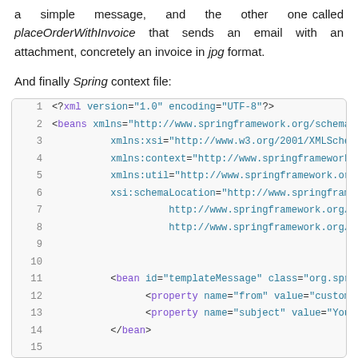a simple message, and the other one called placeOrderWithInvoice that sends an email with an attachment, concretely an invoice in jpg format.
And finally Spring context file:
[Figure (screenshot): XML Spring context file code snippet with line numbers 1-15, showing beans configuration with xmlns attributes and bean definitions for templateMessage with from and subject properties.]